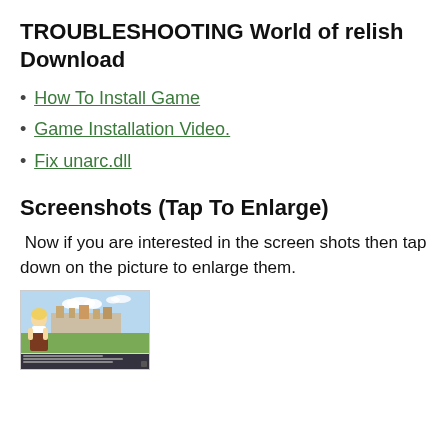TROUBLESHOOTING World of relish Download
How To Install Game
Game Installation Video.
Fix unarc.dll
Screenshots  (Tap To Enlarge)
Now if you are interested in the screen shots then tap down on the picture to enlarge them.
[Figure (screenshot): A game screenshot showing an anime-style girl in a village/town landscape scene with dialogue text at the bottom.]